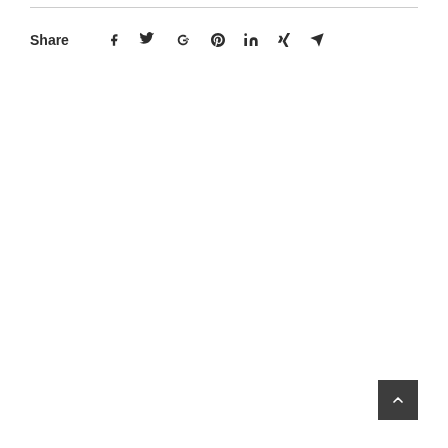Share  f  t  G+  p  in  x  send
[Figure (other): Back to top button with upward arrow chevron, dark grey square button in bottom right corner]